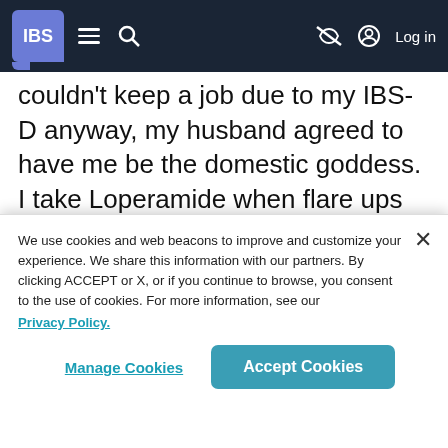IBS [navigation bar with logo, menu, search, and Log in]
couldn't keep a job due to my IBS-D anyway, my husband agreed to have me be the domestic goddess. I take Loperamide when flare ups get to above 5 BMs a day. My diet is INSANELY restrictive but I eat carefully and get enough that my nutrition stays good when
We use cookies and web beacons to improve and customize your experience. We share this information with our partners. By clicking ACCEPT or X, or if you continue to browse, you consent to the use of cookies. For more information, see our Privacy Policy.
Manage Cookies
Accept Cookies